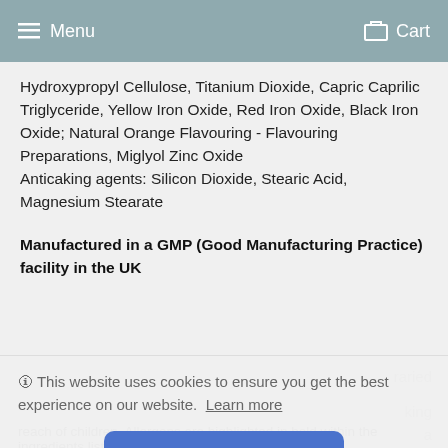Menu  Cart
Hydroxypropyl Cellulose, Titanium Dioxide, Capric Caprilic Triglyceride, Yellow Iron Oxide, Red Iron Oxide, Black Iron Oxide; Natural Orange Flavouring - Flavouring Preparations, Miglyol Zinc Oxide
Anticaking agents: Silicon Dioxide, Stearic Acid, Magnesium Stearate
Manufactured in a GMP (Good Manufacturing Practice) facility in the UK
🛈 This website uses cookies to ensure you get the best experience on our website. Learn more
Got it!
reach of children. Allergens are highlighted in bold within the ingredients list.